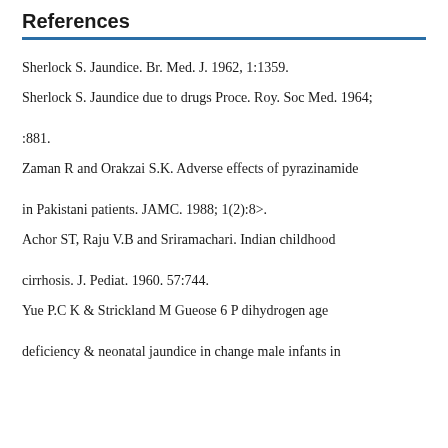References
Sherlock S. Jaundice. Br. Med. J. 1962, 1:1359.
Sherlock S. Jaundice due to drugs Proce. Roy. Soc Med. 1964; :881.
Zaman R and Orakzai S.K. Adverse effects of pyrazinamide in Pakistani patients. JAMC. 1988; 1(2):8>.
Achor ST, Raju V.B and Sriramachari. Indian childhood cirrhosis. J. Pediat. 1960. 57:744.
Yue P.C K & Strickland M Gueose 6 P dihydrogen age deficiency & neonatal jaundice in change male infants in